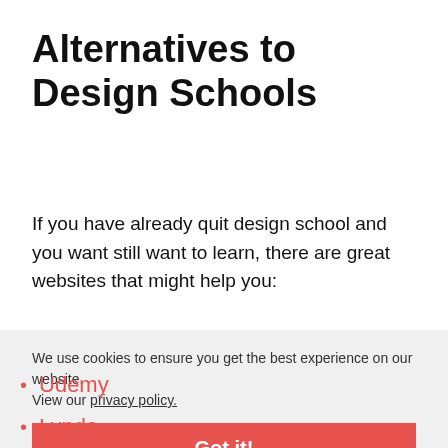Alternatives to Design Schools
If you have already quit design school and you want still want to learn, there are great websites that might help you:
We use cookies to ensure you get the best experience on our website. View our privacy policy.
Got it!
Udemy
Lynda